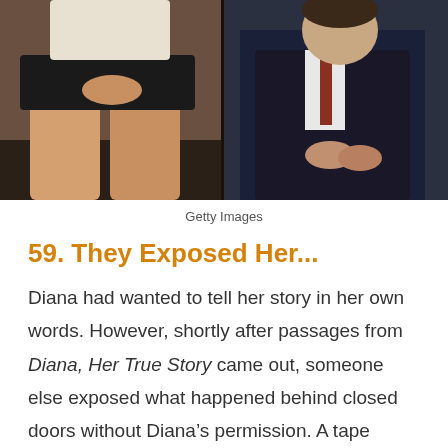[Figure (photo): Two people seated in chairs; left side shows a person with bare legs wearing a dark skirt and light top, right side shows a man in a dark suit, photographed from approximately waist down.]
Getty Images
59. They Exposed Her...
Diana had wanted to tell her story in her own words. However, shortly after passages from Diana, Her True Story came out, someone else exposed what happened behind closed doors without Diana’s permission. A tape recording of a conversation that Diana had